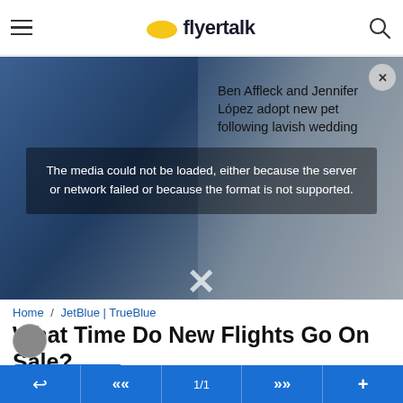flyertalk
[Figure (screenshot): Media player error overlay on a background image of people, with advertisement text 'Ben Affleck and Jennifer Lopez adopt new pet following lavish wedding'. Error message reads: 'The media could not be loaded, either because the server or network failed or because the format is not supported.']
Home / JetBlue | TrueBlue
What Time Do New Flights Go On Sale?
Subscribe
#1